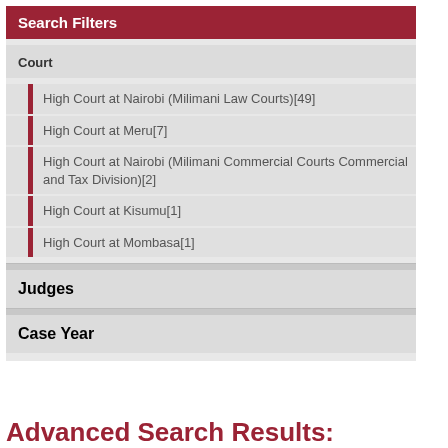Search Filters
Court
High Court at Nairobi (Milimani Law Courts)[49]
High Court at Meru[7]
High Court at Nairobi (Milimani Commercial Courts Commercial and Tax Division)[2]
High Court at Kisumu[1]
High Court at Mombasa[1]
Judges
Case Year
Advanced Search Results: